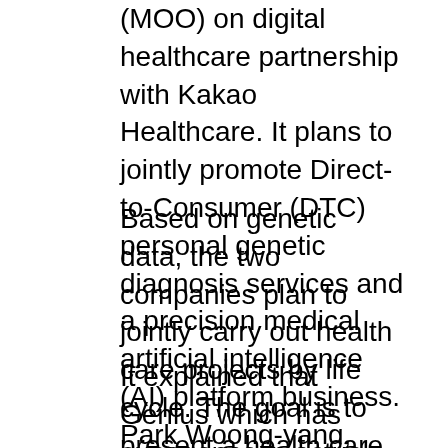(MOO) on digital healthcare partnership with Kakao Healthcare. It plans to jointly promote Direct-to-Consumer (DTC) personal genetic diagnosis services and a precision medical artificial intelligence (AI) platform business. Park Woong-yang, CEO of Genius, and Hwang Hee, CEO of Kakao Healthcare, attended the signing ceremony.
Based on genetic data, the two companies plan to jointly carry out health care projects by life cycle. The goal is to present a health care method that is tailored to individuals based on genetic data obtained through DTC tests and individual lifestyle habits.
It explained that Genius which has experience in actual operation of DTC inspection services, and Kakao Healthcare which has information technology (IT) capabilities, can create synergy effects. Genius has a single cell analysis technology that can analyze...